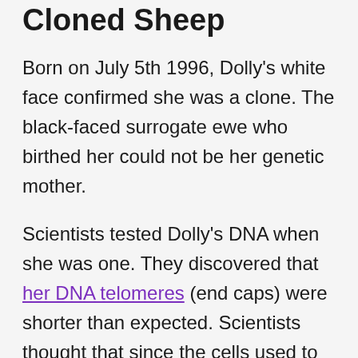Cloned Sheep
Born on July 5th 1996, Dolly's white face confirmed she was a clone. The black-faced surrogate ewe who birthed her could not be her genetic mother.
Scientists tested Dolly's DNA when she was one. They discovered that her DNA telomeres (end caps) were shorter than expected. Scientists thought that since the cells used to create Dolly came from an adult sheep may have caused the abnormality. They thought the adult cells somehow prevented her telomeres from developing normally.